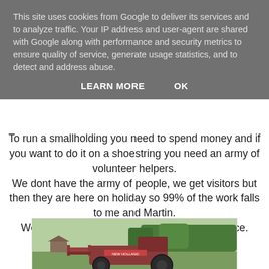This site uses cookies from Google to deliver its services and to analyze traffic. Your IP address and user-agent are shared with Google along with performance and security metrics to ensure quality of service, generate usage statistics, and to detect and address abuse.
LEARN MORE    OK
To run a smallholding you need to spend money and if you want to do it on a shoestring you need an army of volunteer helpers.
We dont have the army of people, we get visitors but then they are here on holiday so 99% of the work falls to me and Martin.
We dont mind after all  this is our lifestyle choice.
Here are some recent purchases
[Figure (photo): A red/maroon farm tractor (New Holland) in a green field with trees in the background.]